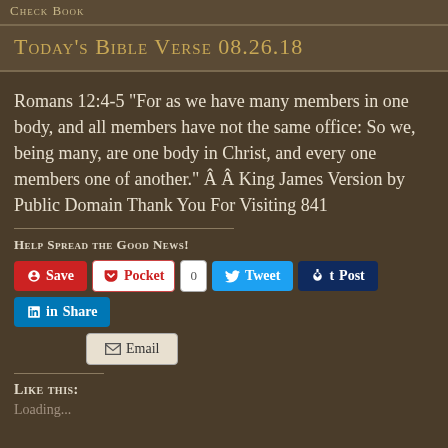Check Book
Today's Bible Verse 08.26.18
Romans 12:4-5 “For as we have many members in one body, and all members have not the same office: So we, being many, are one body in Christ, and every one members one of another.” Â Â  King James Version by Public Domain Thank You For Visiting 841
Help Spread the Good News!
[Figure (screenshot): Social sharing buttons: Save (Pinterest), Pocket, 0 count, Tweet, Post (Tumblr), Share (LinkedIn), Email]
Like this:
Loading...